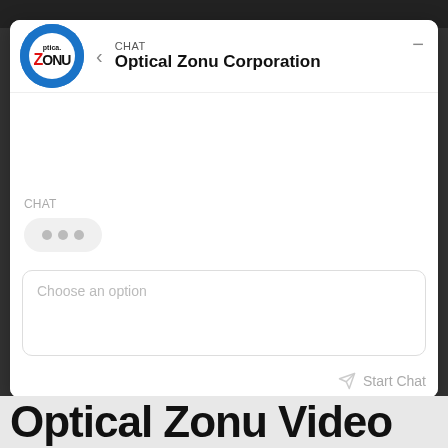[Figure (screenshot): Chat widget interface for Optical Zonu Corporation showing a chat window with logo, back arrow, CHAT label, company name, typing indicator (three dots), a 'Choose an option' input field, and a 'Start Chat' button. Below the widget is partial text reading 'Optical Zonu Video'.]
CHAT
Optical Zonu Corporation
CHAT
Choose an option
Start Chat
Optical Zonu Video